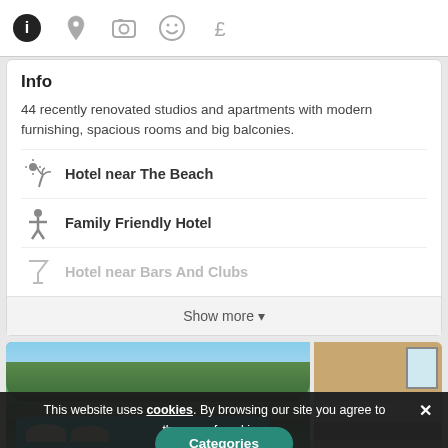[Figure (screenshot): Tab bar with icons: info (filled circle), location pin, camera, smiley face, pound sign]
Info
44 recently renovated studios and apartments with modern furnishing, spacious rooms and big balconies.
Hotel near The Beach
Family Friendly Hotel
Hotel near Bars And Clubs
Show more ▼
[Figure (photo): Two hotel photos side by side: left shows pool and beach area with trees, right shows modern kitchen interior. A teal 'Categories' button overlays the bottom center.]
Categories
This website uses cookies. By browsing our site you agree to the use of cookies.